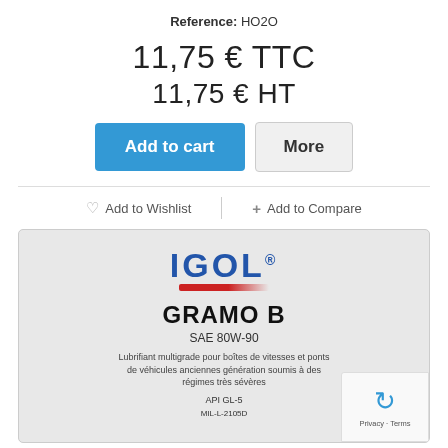Reference: HO2O
11,75 € TTC
11,75 € HT
Add to cart
More
♡ Add to Wishlist
+ Add to Compare
[Figure (photo): Photo of IGOL GRAMO B SAE 80W-90 lubricant product container label]